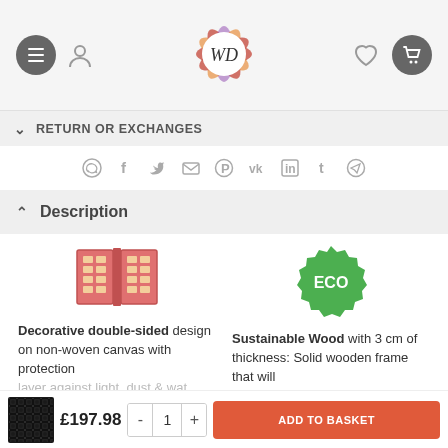WD store header with navigation icons and logo
RETURN OR EXCHANGES
[Figure (infographic): Social sharing icons row: WhatsApp, Facebook, Twitter, Email, Pinterest, VK, LinkedIn, Tumblr, Telegram]
Description
[Figure (infographic): Two product feature icons with descriptions: 1) Decorative double-sided canvas icon with text about double-sided design on non-woven canvas with protection layer against dust & water. 2) ECO badge icon with text about Sustainable Wood with 3 cm of thickness: Solid wooden frame that will last very long and ideal for...]
Decorative double-sided design on non-woven canvas with protection layer against light, dust & water
Sustainable Wood with 3 cm of thickness: Solid wooden frame that will last very long and ideal for
£197.98  -  1  +  ADD TO BASKET